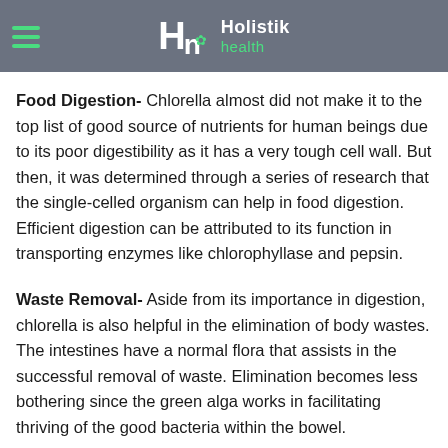Holistik health
Food Digestion- Chlorella almost did not make it to the top list of good source of nutrients for human beings due to its poor digestibility as it has a very tough cell wall. But then, it was determined through a series of research that the single-celled organism can help in food digestion. Efficient digestion can be attributed to its function in transporting enzymes like chlorophyllase and pepsin.
Waste Removal- Aside from its importance in digestion, chlorella is also helpful in the elimination of body wastes. The intestines have a normal flora that assists in the successful removal of waste. Elimination becomes less bothering since the green alga works in facilitating thriving of the good bacteria within the bowel.